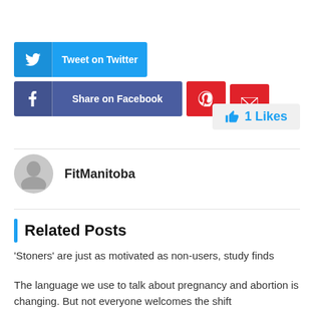[Figure (infographic): Social sharing buttons: Tweet on Twitter (blue), Share on Facebook (dark blue), Pinterest (red square), Email (red square)]
1 Likes
FitManitoba
Related Posts
‘Stoners’ are just as motivated as non-users, study finds
The language we use to talk about pregnancy and abortion is changing. But not everyone welcomes the shift